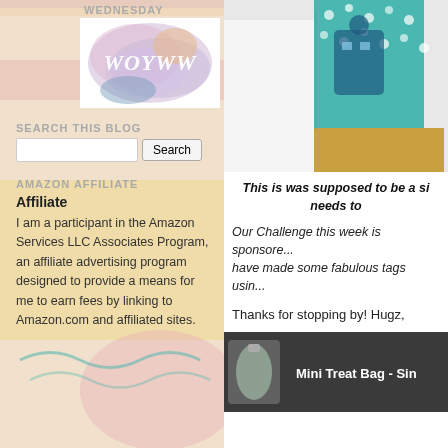WEDNESDAY
[Figure (illustration): WOYWW watercolor logo with script text on pastel watercolor blob background]
SEARCH THIS BLOG
Search
AMAZON AFFILIATE
Affiliate
I am a participant in the Amazon Services LLC Associates Program, an affiliate advertising program designed to provide a means for me to earn fees by linking to Amazon.com and affiliated sites.
[Figure (photo): Decorative gift box with teal polka dot pattern, partially cropped]
This is was supposed to be a si... needs to
Our Challenge this week is sponsore... have made some fabulous tags usin...
Thanks for stopping by!  Hugz,
[Figure (screenshot): Mini Treat Bag video thumbnail with dark background and white text label 'Mini Treat Bag - Sin...']